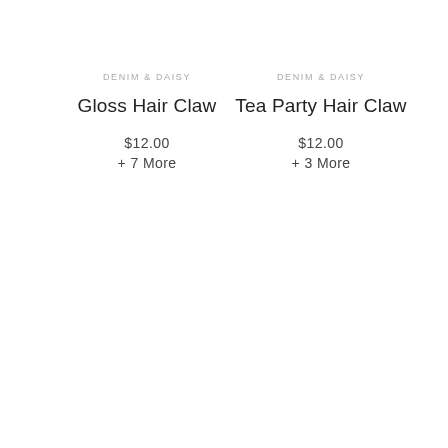DENIM & DAISY
Gloss Hair Claw
$12.00
+ 7 More
DENIM & DAISY
Tea Party Hair Claw
$12.00
+ 3 More